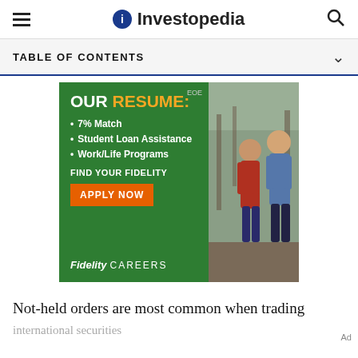Investopedia
TABLE OF CONTENTS
[Figure (photo): Fidelity Careers advertisement showing two men walking, with headline OUR RESUME:, bullet points: 7% Match, Student Loan Assistance, Work/Life Programs, FIND YOUR FIDELITY, APPLY NOW button, and Fidelity CAREERS logo]
Not-held orders are most common when trading international securities